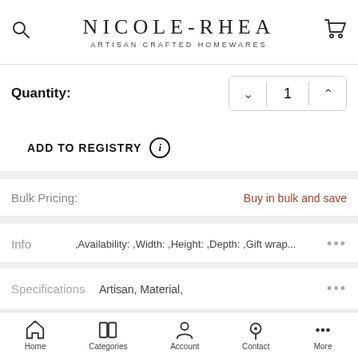NICOLE-RHEA ARTISAN CRAFTED HOMEWARES
Quantity: 1
ADD TO REGISTRY
Bulk Pricing: Buy in bulk and save
Info  ,Availability: ,Width: ,Height: ,Depth: ,Gift wrap...
Specifications  Artisan, Material,
ADD TO CART
Home  Categories  Account  Contact  More